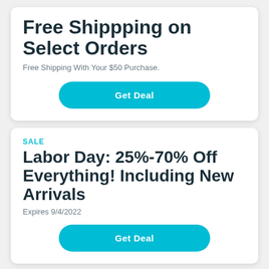Free Shippping on Select Orders
Free Shipping With Your $50 Purchase.
Get Deal
SALE
Labor Day: 25%-70% Off Everything! Including New Arrivals
Expires 9/4/2022
Get Deal
SALE
Save Up to 70% Off Clearance